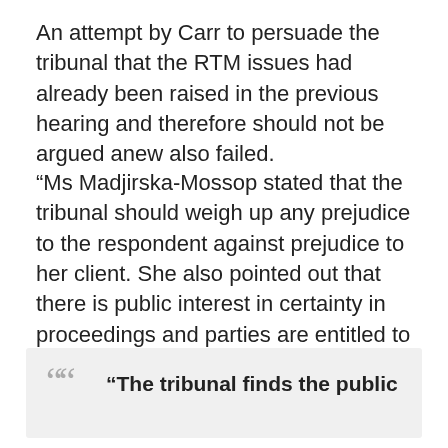An attempt by Carr to persuade the tribunal that the RTM issues had already been raised in the previous hearing and therefore should not be argued anew also failed.
“Ms Madjirska-Mossop stated that the tribunal should weigh up any prejudice to the respondent against prejudice to her client. She also pointed out that there is public interest in certainty in proceedings and parties are entitled to be able to get on with their lives …
“The tribunal finds the public